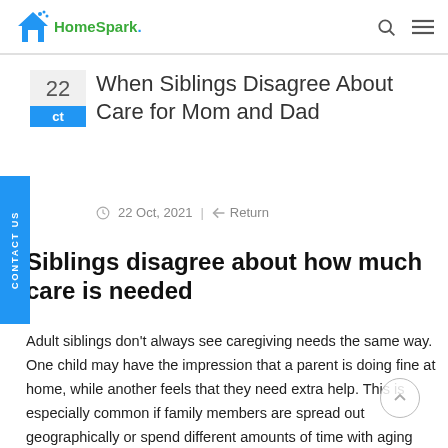HomeSpark
When Siblings Disagree About Care for Mom and Dad
22 Oct, 2021 | Return
Siblings disagree about how much care is needed
Adult siblings don't always see caregiving needs the same way. One child may have the impression that a parent is doing fine at home, while another feels that they need extra help. This is especially common if family members are spread out geographically or spend different amounts of time with aging...